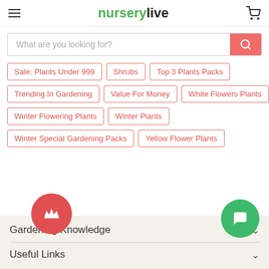nurserylive
[Figure (screenshot): Search bar with placeholder text 'What are you looking for?' and a red/salmon search button with magnifying glass icon]
Sale: Plants Under 999
Shrubs
Top 3 Plants Packs
Trending In Gardening
Value For Money
White Flowers Plants
Winter Flowering Plants
Winter Plants
Winter Special Gardening Packs
Yellow Flower Plants
Gardening Knowledge
Useful Links